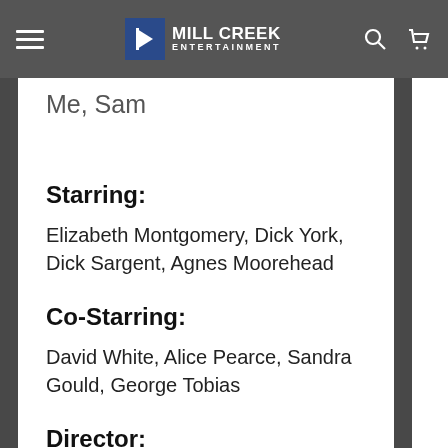Mill Creek Entertainment
Me, Sam
Starring:
Elizabeth Montgomery, Dick York, Dick Sargent, Agnes Moorehead
Co-Starring:
David White, Alice Pearce, Sandra Gould, George Tobias
Director: